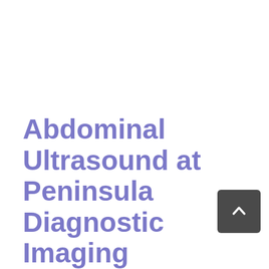Abdominal Ultrasound at Peninsula Diagnostic Imaging